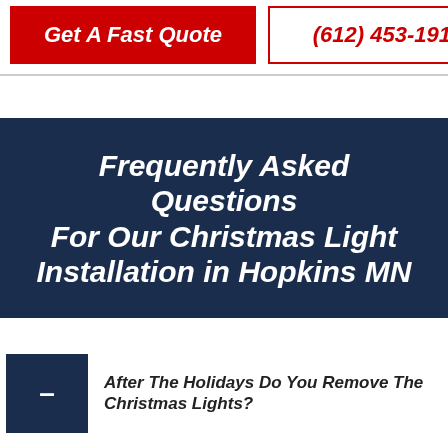Get A Fast Quote | (612) 453-1911
Frequently Asked Questions For Our Christmas Light Installation in Hopkins MN
After The Holidays Do You Remove The Christmas Lights?
We do! At Sonic Christmas Lights, we not only provide the